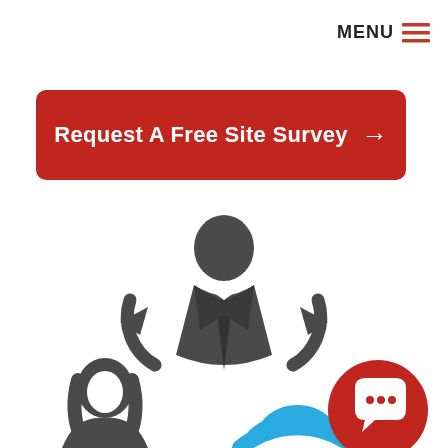MENU ≡
[Figure (other): Red button with white bold text 'Request A Free Site Survey →']
[Figure (illustration): Gray silhouette icon of a male businessman in suit with circular arrows around him, partially visible female silhouette below-left, WiFi signal icon in blue below-right with a red speech bubble chat icon overlay]